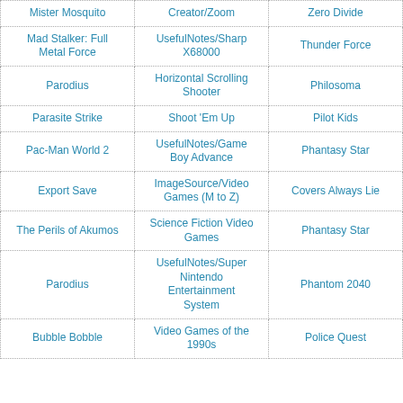| Mister Mosquito | Creator/Zoom | Zero Divide |
| Mad Stalker: Full Metal Force | UsefulNotes/Sharp X68000 | Thunder Force |
| Parodius | Horizontal Scrolling Shooter | Philosoma |
| Parasite Strike | Shoot 'Em Up | Pilot Kids |
| Pac-Man World 2 | UsefulNotes/Game Boy Advance | Phantasy Star |
| Export Save | ImageSource/Video Games (M to Z) | Covers Always Lie |
| The Perils of Akumos | Science Fiction Video Games | Phantasy Star |
| Parodius | UsefulNotes/Super Nintendo Entertainment System | Phantom 2040 |
| Bubble Bobble | Video Games of the 1990s | Police Quest |